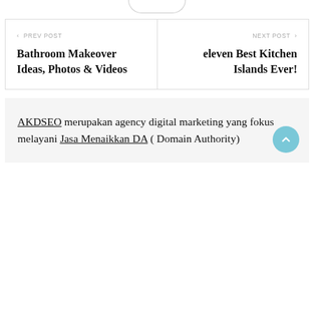< PREV POST
Bathroom Makeover Ideas, Photos & Videos
NEXT POST >
eleven Best Kitchen Islands Ever!
AKDSEO merupakan agency digital marketing yang fokus melayani Jasa Menaikkan DA ( Domain Authority)